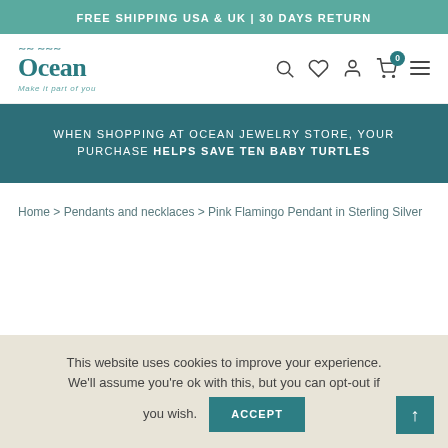FREE SHIPPING USA & UK | 30 DAYS RETURN
[Figure (logo): Ocean jewelry store logo with wave decoration and tagline 'Make it part of you']
WHEN SHOPPING AT OCEAN JEWELRY STORE, YOUR PURCHASE HELPS SAVE TEN BABY TURTLES
Home > Pendants and necklaces > Pink Flamingo Pendant in Sterling Silver
This website uses cookies to improve your experience. We'll assume you're ok with this, but you can opt-out if you wish. ACCEPT